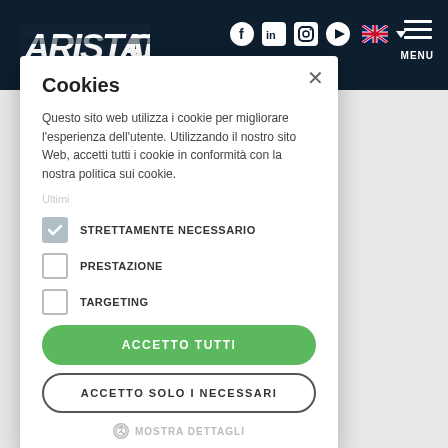[Figure (screenshot): Website navigation bar with logo ARISTARCO, social media icons (Facebook, LinkedIn, Instagram, YouTube), language selector with UK flag, and hamburger menu with MENU label on dark navy background]
Cookies
Questo sito web utilizza i cookie per migliorare l'esperienza dell'utente. Utilizzando il nostro sito Web, accetti tutti i cookie in conformità con la nostra politica sui cookie.
STRETTAMENTE NECESSARIO (checked)
PRESTAZIONE (unchecked)
TARGETING (unchecked)
ACCETTO TUTTI
ACCETTO SOLO I NECESSARI
MOSTRA DETTAGLI